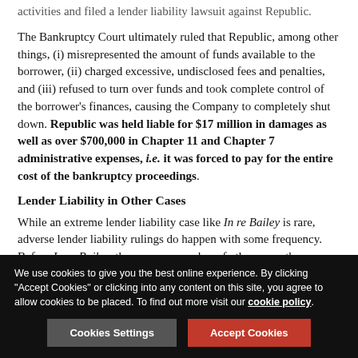activities and filed a lender liability lawsuit against Republic.
The Bankruptcy Court ultimately ruled that Republic, among other things, (i) misrepresented the amount of funds available to the borrower, (ii) charged excessive, undisclosed fees and penalties, and (iii) refused to turn over funds and took complete control of the borrower’s finances, causing the Company to completely shut down. Republic was held liable for $17 million in damages as well as over $700,000 in Chapter 11 and Chapter 7 administrative expenses, i.e. it was forced to pay for the entire cost of the bankruptcy proceedings.
Lender Liability in Other Cases
While an extreme lender liability case like In re Bailey is rare, adverse lender liability rulings do happen with some frequency. Before In re Bailey, there were a number of other cases the
We use cookies to give you the best online experience. By clicking “Accept Cookies” or clicking into any content on this site, you agree to allow cookies to be placed. To find out more visit our cookie policy.